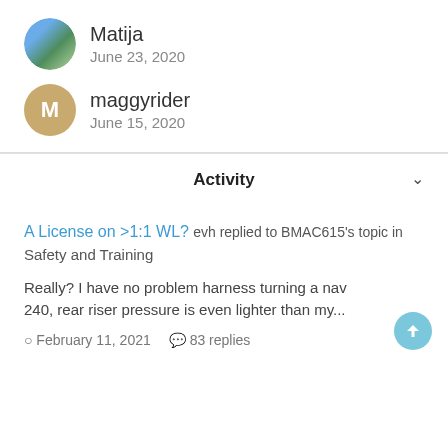Matija
June 23, 2020
maggyrider
June 15, 2020
Activity
A License on >1:1 WL? evh replied to BMAC615's topic in Safety and Training
Really? I have no problem harness turning a nav 240, rear riser pressure is even lighter than my...
February 11, 2021   83 replies